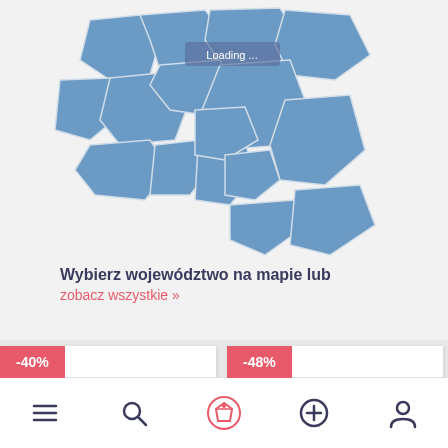[Figure (map): Interactive map of Poland showing voivodeships (provinces) highlighted in blue with 'Loading...' overlay label]
Wybierz województwo na mapie lub
zobacz wszystkie »
[Figure (photo): Product card with -40% discount badge showing a white floral children's cardigan/top laid on a brown surface]
[Figure (photo): Product card with -48% discount badge showing a white floral children's cardigan/top laid on a brown surface]
[Figure (infographic): Bottom navigation bar with 5 icons: hamburger menu, search, logo/tag icon (pink), plus/add, and user/profile]